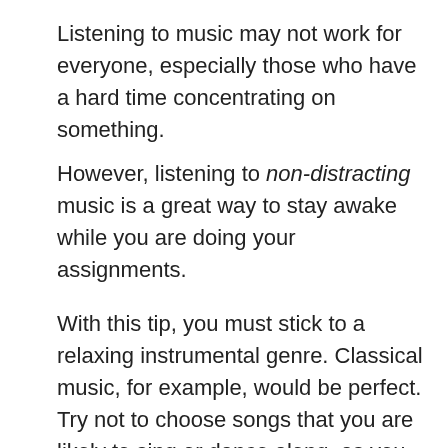Listening to music may not work for everyone, especially those who have a hard time concentrating on something.
However, listening to non-distracting music is a great way to stay awake while you are doing your assignments.
With this tip, you must stick to a relaxing instrumental genre. Classical music, for example, would be perfect. Try not to choose songs that you are likely to sing or dance along, as you won't
[Figure (photo): Advertisement banner showing an airplane being loaded with cargo on a tarmac, with an overlay text reading 'WITHOUT REGARD TO POLITICS, RELIGION, OR ABILITY TO PAY']